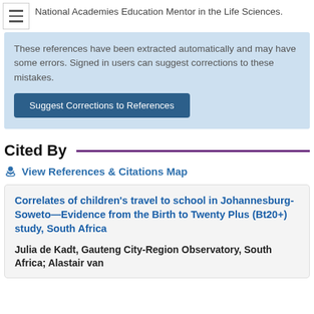National Academies Education Mentor in the Life Sciences.
These references have been extracted automatically and may have some errors. Signed in users can suggest corrections to these mistakes.
Suggest Corrections to References
Cited By
View References & Citations Map
Correlates of children's travel to school in Johannesburg-Soweto—Evidence from the Birth to Twenty Plus (Bt20+) study, South Africa
Julia de Kadt, Gauteng City-Region Observatory, South Africa; Alastair van